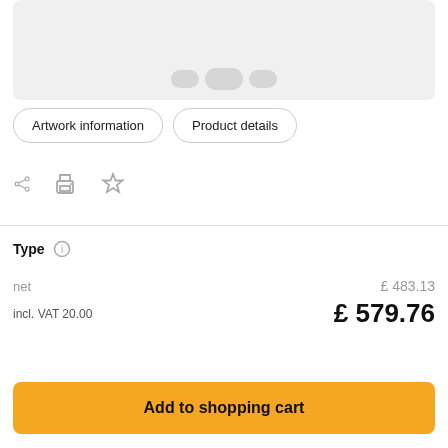[Figure (photo): Product image area with blurred/gray placeholder showing pill or ring-shaped objects at the top]
Artwork information   Product details
[Figure (infographic): Icons row: share icon, print icon, star/bookmark icon]
Type (i)
net   £ 483.13
incl. VAT 20.00   £ 579.76
Add to shopping cart